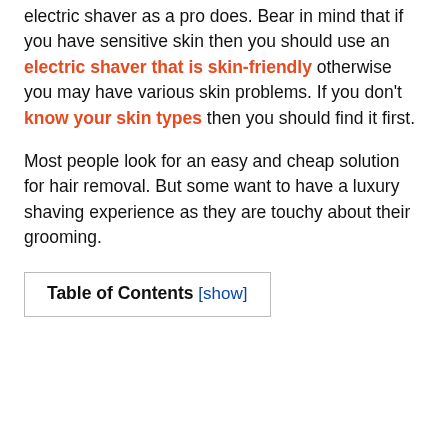electric shaver as a pro does. Bear in mind that if you have sensitive skin then you should use an electric shaver that is skin-friendly otherwise you may have various skin problems. If you don't know your skin types then you should find it first.
Most people look for an easy and cheap solution for hair removal. But some want to have a luxury shaving experience as they are touchy about their grooming.
| Table of Contents | [show] |
| --- | --- |